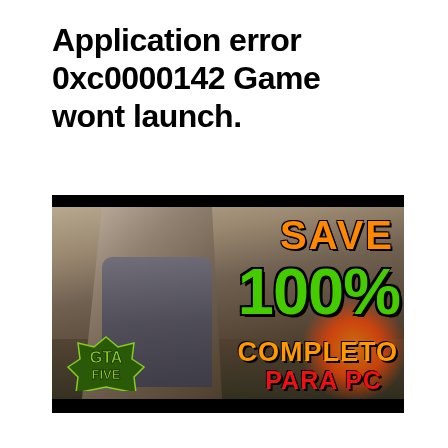Application error 0xc0000142 Game wont launch.
[Figure (screenshot): GTA V game thumbnail/screenshot showing a character holding a gun, with overlaid text reading SAVE 100% COMPLETO PARA PC in orange, green, and red colors on a dark background. GTA Five logo visible bottom left.]